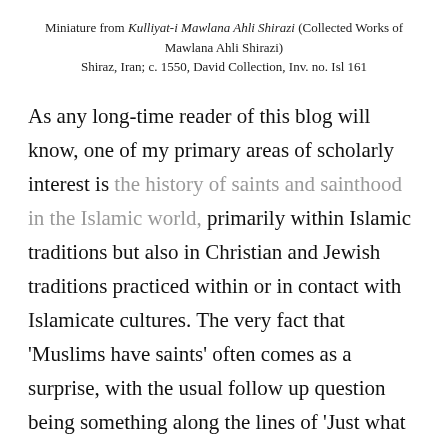Miniature from Kulliyat-i Mawlana Ahli Shirazi (Collected Works of Mawlana Ahli Shirazi) Shiraz, Iran; c. 1550, David Collection, Inv. no. Isl 161
As any long-time reader of this blog will know, one of my primary areas of scholarly interest is the history of saints and sainthood in the Islamic world, primarily within Islamic traditions but also in Christian and Jewish traditions practiced within or in contact with Islamicate cultures. The very fact that 'Muslims have saints' often comes as a surprise, with the usual follow up question being something along the lines of 'Just what is a Muslim saint like?' The answer, of course, varies from place to place and time to time, with the usual caveats that Muslims saints look both like and unlike saints in other religions